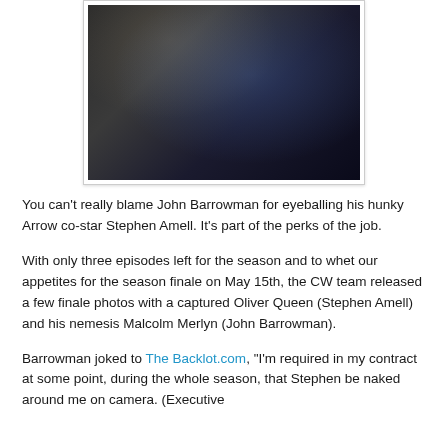[Figure (photo): Dark moody photo showing two figures, appearing to be from the TV show Arrow, against a dark smoky background.]
You can't really blame John Barrowman for eyeballing his hunky Arrow co-star Stephen Amell. It's part of the perks of the job.
With only three episodes left for the season and to whet our appetites for the season finale on May 15th, the CW team released a few finale photos with a captured Oliver Queen (Stephen Amell) and his nemesis Malcolm Merlyn (John Barrowman).
Barrowman joked to The Backlot.com, "I'm required in my contract at some point, during the whole season, that Stephen be naked around me on camera. (Executive Producer) Andrew [Kreisberg] said this was as close..."